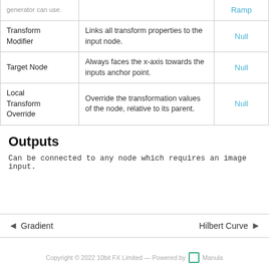|  |  |  |
| --- | --- | --- |
| generator can use. |  | Ramp |
| Transform Modifier | Links all transform properties to the input node. | Null |
| Target Node | Always faces the x-axis towards the inputs anchor point. | Null |
| Local Transform Override | Override the transformation values of the node, relative to its parent. | Null |
Outputs
Can be connected to any node which requires an image input.
◄  Gradient    Hilbert Curve  ►
Copyright © 2022 10bit FX Limited — Powered by  Manula